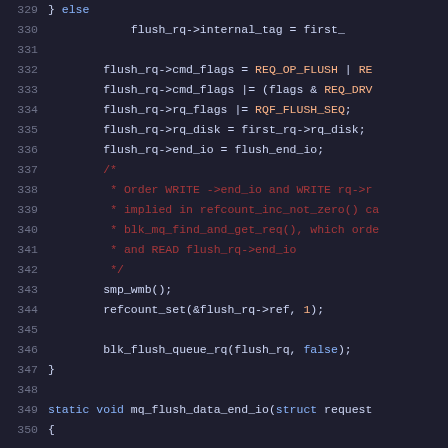[Figure (screenshot): Source code listing showing C kernel code for flush_rq operations, lines 329-350, with syntax highlighting on dark background]